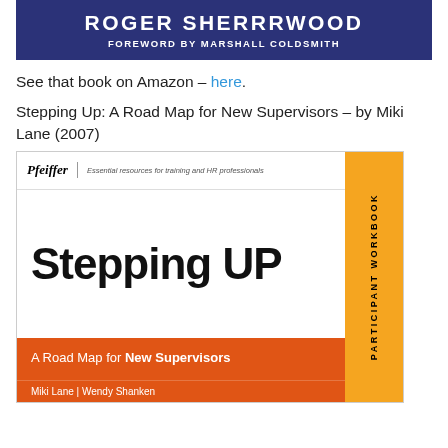[Figure (illustration): Top portion of dark navy blue book cover with title text and 'Foreword by Marshall Coldsmith' subtitle in white on navy background]
See that book on Amazon – here.
Stepping Up: A Road Map for New Supervisors – by Miki Lane (2007)
[Figure (photo): Book cover of 'Stepping Up: A Road Map for New Supervisors' Participant Workbook published by Pfeiffer. White top area with Pfeiffer branding, large black 'Stepping Up' title text, orange bottom band with subtitle and authors (Miki Lane, Wendy Shanken, Marilynne Malkin, Dennis Cavendish), yellow-orange vertical sidebar with 'Participant Workbook' text.]